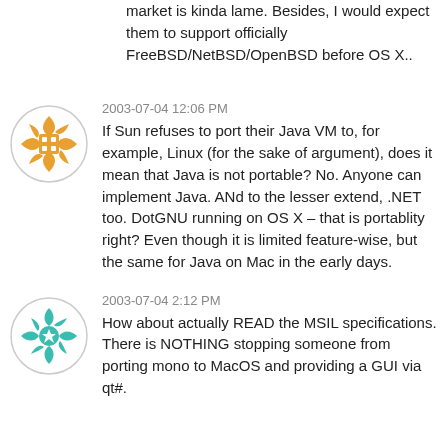market is kinda lame. Besides, I would expect them to support officially FreeBSD/NetBSD/OpenBSD before OS X..
2003-07-04 12:06 PM
If Sun refuses to port their Java VM to, for example, Linux (for the sake of argument), does it mean that Java is not portable? No. Anyone can implement Java. ANd to the lesser extend, .NET too. DotGNU running on OS X – that is portablity right? Even though it is limited feature-wise, but the same for Java on Mac in the early days.
2003-07-04 2:12 PM
How about actually READ the MSIL specifications. There is NOTHING stopping someone from porting mono to MacOS and providing a GUI via qt#.